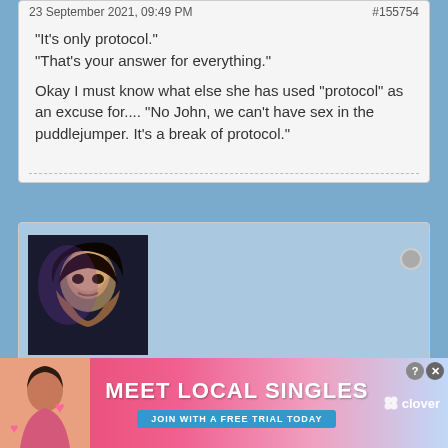23 September 2021, 09:49 PM   #155754
"It's only protocol."
"That's your answer for everything."

Okay I must know what else she has used "protocol" as an excuse for.... "No John, we can't have sex in the puddlejumper. It's a break of protocol."
[Figure (photo): Avatar image of a dark-haired woman, appears to be a TV character.]
JT-2
Colonel
Member Since: Aug 2010   Posts: 7457
[Figure (infographic): Advertisement banner: MEET LOCAL SINGLES - JOIN WITH A FREE TRIAL TODAY - clover app]